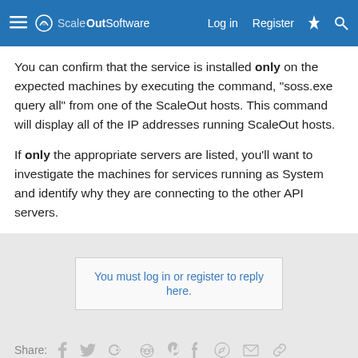ScaleOut Software — Log in | Register
You can confirm that the service is installed only on the expected machines by executing the command, "soss.exe query all" from one of the ScaleOut hosts. This command will display all of the IP addresses running ScaleOut hosts.
If only the appropriate servers are listed, you'll want to investigate the machines for services running as System and identify why they are connecting to the other API servers.
You must log in or register to reply here.
Share:
< Support
Contact us   Terms and rules   Privacy policy   Help   Home   Forum software by XenForo™ © 2010-2018 XenForo Ltd.